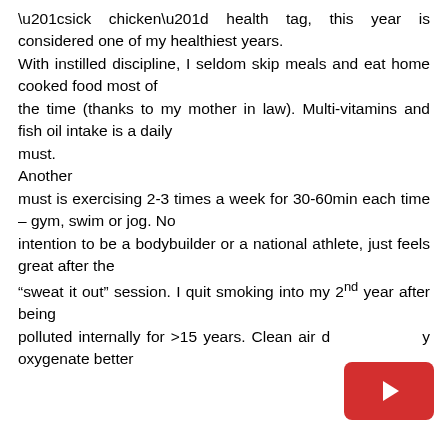“sick chicken” health tag, this year is considered one of my healthiest years. With instilled discipline, I seldom skip meals and eat home cooked food most of the time (thanks to my mother in law). Multi-vitamins and fish oil intake is a daily must. Another must is exercising 2-3 times a week for 30-60min each time – gym, swim or jog. No intention to be a bodybuilder or a national athlete, just feels great after the “sweat it out” session. I quit smoking into my 2nd year after being polluted internally for >15 years. Clean air do oxygenate better